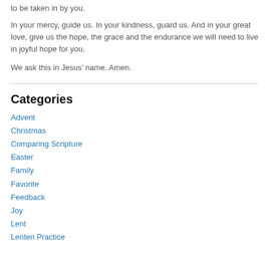to be taken in by you.
In your mercy, guide us. In your kindness, guard us. And in your great love, give us the hope, the grace and the endurance we will need to live in joyful hope for you.
We ask this in Jesus’ name. Amen.
Categories
Advent
Christmas
Comparing Scripture
Easter
Family
Favorite
Feedback
Joy
Lent
Lenten Practice